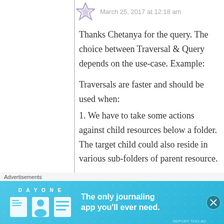March 25, 2017 at 12:18 am
Thanks Chetanya for the query. The choice between Traversal & Query depends on the use-case. Example:
Traversals are faster and should be used when:
1. We have to take some actions against child resources below a folder. The target child could also reside in various sub-folders of parent resource.
[Figure (other): Day One journaling app advertisement banner with sky blue background, logo icons, and tagline 'The only journaling app you'll ever need.']